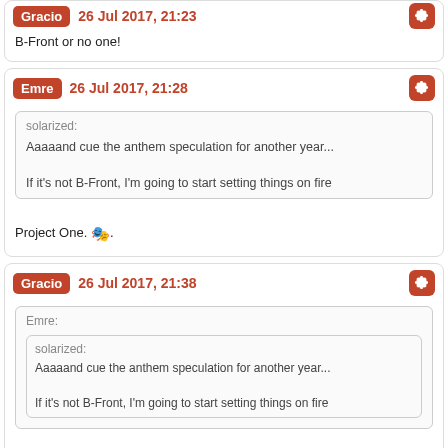Gracio 26 Jul 2017, 21:23 — B-Front or no one!
Emre 26 Jul 2017, 21:28 — Quote from solarized: Aaaaand cue the anthem speculation for another year... If it's not B-Front, I'm going to start setting things on fire — Project One. 🎭
Gracio 26 Jul 2017, 21:38 — Quote from Emre who quoted solarized: Aaaaand cue the anthem speculation for another year... If it's not B-Front, I'm going to start setting things on fire — Project One. 🎭